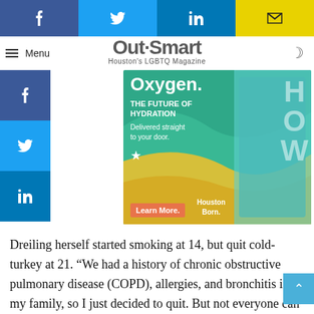[Figure (other): Social media share buttons bar: Facebook (blue), Twitter (cyan), LinkedIn (blue), Email (yellow)]
Out Smart — Houston's LGBTQ Magazine
[Figure (other): HOW Water advertisement: Oxygen. THE FUTURE OF HYDRATION. Delivered straight to your door. Houston Born. Learn More.]
[Figure (other): Left side social sharing buttons: Facebook, Twitter, LinkedIn]
Dreiling herself started smoking at 14, but quit cold-turkey at 21. “We had a history of chronic obstructive pulmonary disease (COPD), allergies, and bronchitis in my family, so I just decided to quit. But not everyone can do that."